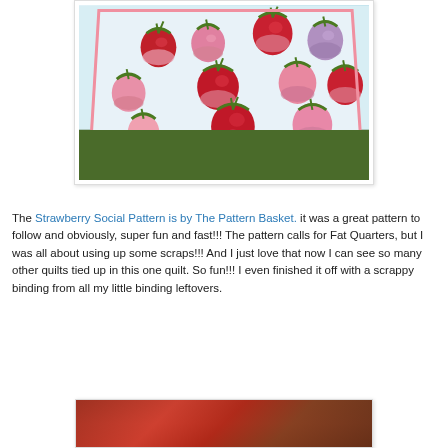[Figure (photo): A strawberry quilt laid out on grass, showing multiple appliqued strawberry blocks in red, pink, and purple fabrics on a white background with a pink border.]
The Strawberry Social Pattern is by The Pattern Basket. it was a great pattern to follow and obviously, super fun and fast!!!   The pattern calls for Fat Quarters, but I was all about using up some scraps!!!   And I just love that now I can see so many other quilts tied up in this one quilt.   So fun!!!   I even finished it off with a scrappy binding from all my little binding leftovers.
[Figure (photo): Partial view of a second photo at the bottom of the page, appearing to show more of the strawberry quilt or a related scene.]